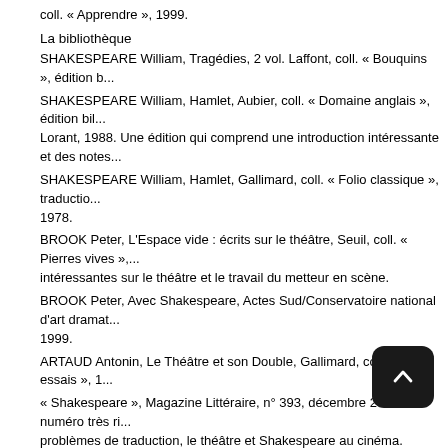coll. « Apprendre », 1999.
La bibliothèque
SHAKESPEARE William, Tragédies, 2 vol. Laffont, coll. « Bouquins », édition b...
SHAKESPEARE William, Hamlet, Aubier, coll. « Domaine anglais », édition bil... Lorant, 1988. Une édition qui comprend une introduction intéressante et des notes...
SHAKESPEARE William, Hamlet, Gallimard, coll. « Folio classique », traductio... 1978.
BROOK Peter, L'Espace vide : écrits sur le théâtre, Seuil, coll. « Pierres vives »,... intéressantes sur le théâtre et le travail du metteur en scène.
BROOK Peter, Avec Shakespeare, Actes Sud/Conservatoire national d'art dramat... 1999.
ARTAUD Antonin, Le Théâtre et son Double, Gallimard, coll. « Folio essais », 1...
« Shakespeare », Magazine Littéraire, n° 393, décembre 2000. Un numéro très ri... problèmes de traduction, le théâtre et Shakespeare au cinéma.
Le Roi Lear, film de Peter Brook, 1969. Brigitte Coutin (pour The Tragedy of Ha... Bonnet (pour Brook par Brook, portrait intime), professeurs de lettres modernes.
Reset
Up
Down
Tags : Hamlet